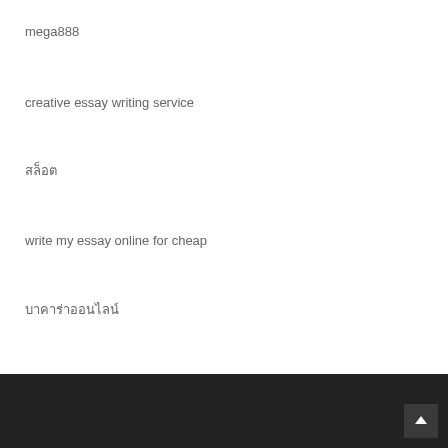mega888
creative essay writing service
สล็อต
write my essay online for cheap
บาคาร่าออนไลน์